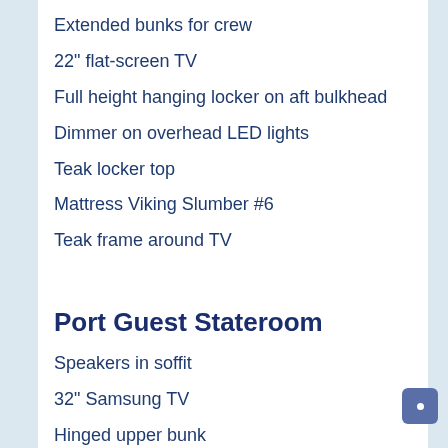Extended bunks for crew
22" flat-screen TV
Full height hanging locker on aft bulkhead
Dimmer on overhead LED lights
Teak locker top
Mattress Viking Slumber #6
Teak frame around TV
Port Guest Stateroom
Speakers in soffit
32" Samsung TV
Hinged upper bunk
Teak locker storage top
Mattress Viking Slumber #6
Hung teak locker top, full height with...